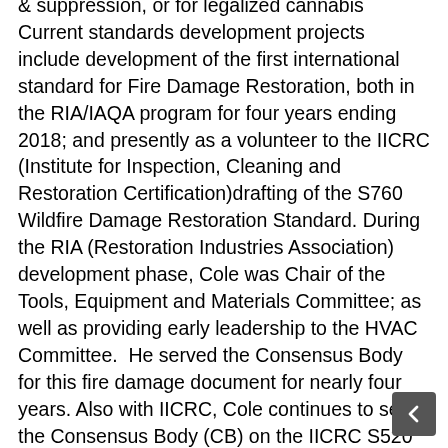& suppression, or for legalized cannabis Current standards development projects include development of the first international standard for Fire Damage Restoration, both in the RIA/IAQA program for four years ending 2018; and presently as a volunteer to the IICRC (Institute for Inspection, Cleaning and Restoration Certification)drafting of the S760 Wildfire Damage Restoration Standard. During the RIA (Restoration Industries Association) development phase, Cole was Chair of the Tools, Equipment and Materials Committee; as well as providing early leadership to the HVAC Committee.  He served the Consensus Body for this fire damage document for nearly four years. Also with IICRC, Cole continues to serve the Consensus Body (CB) on the IICRC S520 Standard for Professional Mold Remediation.  Past service includes service on the CB of the IICRC S540 Trauma Cleanup document, as a Reviewer for the IICRC S500 standard for Water Damage Restoration, and as a Subject-Matter-Expert for exam development for the MRS (Mold